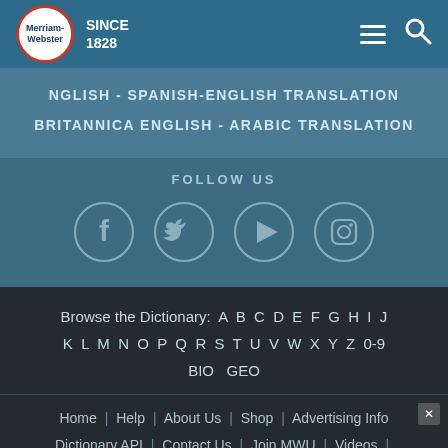[Figure (logo): Merriam-Webster logo with red border circle and SINCE 1828 text, hamburger menu and search icons]
NGLISH - SPANISH-ENGLISH TRANSLATION
BRITANNICA ENGLISH - ARABIC TRANSLATION
FOLLOW US
[Figure (infographic): Four social media icons in circles: Facebook, Twitter, YouTube/Play, Instagram]
Browse the Dictionary: A B C D E F G H I J K L M N O P Q R S T U V W X Y Z 0-9 BIO GEO
Home | Help | About Us | Shop | Advertising Info | Dictionary API | Contact Us | Join MWU | Videos | Word of the Year | Vocabulary Resources |